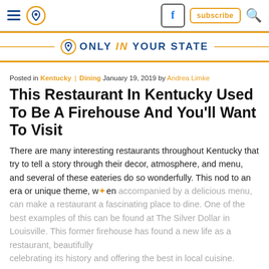Navigation bar with hamburger menu, location pin icon, Facebook button, subscribe button, search icon
[Figure (logo): Only In Your State logo banner with location pin icon and gold/blue text on white background with gold horizontal rules]
Posted in Kentucky | Dining January 19, 2019 by Andrea Limke
This Restaurant In Kentucky Used To Be A Firehouse And You'll Want To Visit
There are many interesting restaurants throughout Kentucky that try to tell a story through their decor, atmosphere, and menu, and several of these eateries do so wonderfully. This nod to an era or unique theme, when accompanied by a delicious menu, can make a restaurant a fascinating place to dine. One of the best examples of this can be found at The Silver Dollar in Louisville. This former firehouse has found a new life as a restaurant, beautifully celebrating its history and offering the best in local cuisine.